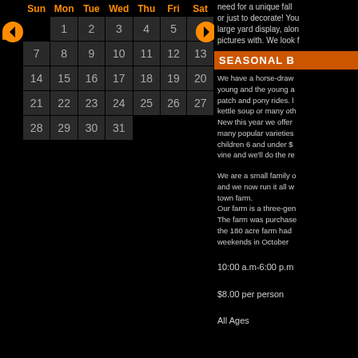| Sun | Mon | Tue | Wed | Thu | Fri | Sat |
| --- | --- | --- | --- | --- | --- | --- |
|  | 1 | 2 | 3 | 4 | 5 | 6 |
| 7 | 8 | 9 | 10 | 11 | 12 | 13 |
| 14 | 15 | 16 | 17 | 18 | 19 | 20 |
| 21 | 22 | 23 | 24 | 25 | 26 | 27 |
| 28 | 29 | 30 | 31 |  |  |  |
need for a unique fall or just to decorate! You large yard display, alon pictures with. We look
SEASONAL B
We have a horse-draw young and the young a patch and pony rides. kettle soup or many oth New this year we offer many popular varieties children 6 and under $ vine and we'll do the re
We are a small family and we now run it all w town farm.
Our farm is a three-ge
The farm was purchase the 180 acre farm had weekends in October
10:00 a.m-6:00 p.m
$8.00 per person
All Ages